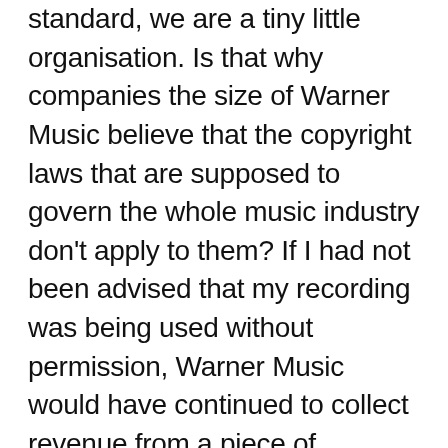standard, we are a tiny little organisation. Is that why companies the size of Warner Music believe that the copyright laws that are supposed to govern the whole music industry don't apply to them? If I had not been advised that my recording was being used without permission, Warner Music would have continued to collect revenue from a piece of intellectual property that did not belong to them. Had I not been sufficiently clued up from a legal perspective, even when confronted with clear evidence of wrongdoing: Warner Music would have persisted with the false statement that they were within their right to abuse my rights 'perpetually'.
Forever seems like a long time, but that's